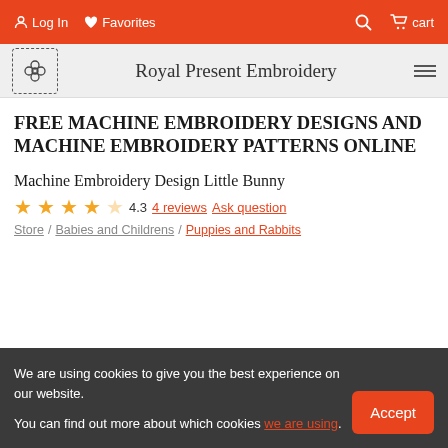Log In  Favorites  [search icon]  cart
Royal Present Embroidery
FREE MACHINE EMBROIDERY DESIGNS AND MACHINE EMBROIDERY PATTERNS ONLINE
Machine Embroidery Design Little Bunny
4.3  4 reviews  Ask question
Store / Babies and Childrens / Puppies and Rabbits
We are using cookies to give you the best experience on our website.

You can find out more about which cookies we are using.
Accept